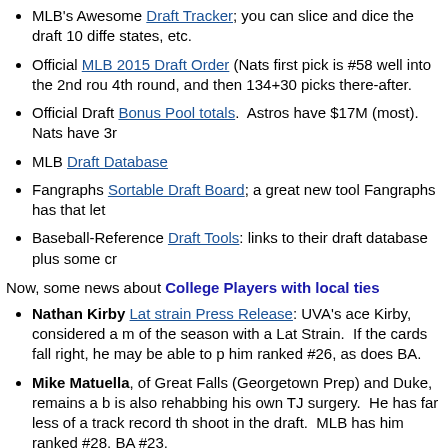MLB's Awesome Draft Tracker; you can slice and dice the draft 10 different ways including states, etc.
Official MLB 2015 Draft Order (Nats first pick is #58 well into the 2nd round, 4th round, and then 134+30 picks there-after.
Official Draft Bonus Pool totals.  Astros have $17M (most).  Nats have 3r...
MLB Draft Database
Fangraphs Sortable Draft Board; a great new tool Fangraphs has that let...
Baseball-Reference Draft Tools: links to their draft database plus some cr...
Now, some news about College Players with local ties
Nathan Kirby Lat strain Press Release: UVA's ace Kirby, considered a m... of the season with a Lat Strain.  If the cards fall right, he may be able to p... him ranked #26, as does BA.
Mike Matuella, of Great Falls (Georgetown Prep) and Duke, remains a b... is also rehabbing his own TJ surgery.  He has far less of a track record th... shoot in the draft.  MLB has him ranked #28, BA #23.
Taylor Clarke, who hails from Ashburn (Broad Run HS), was named the... stellar numbers for the College of Charleston, a trendy underdog pick to m... so that's perhaps a 4th-5th rounder, while BA has him higher at #118.  He...
Joe McCarthy, OF for UVA, missed most of the season with a back injur... stock has dropped from a supp-1st to probably the back end of the 2nd r...
Josh Sborz got dumped out of UVA's rotation but still is ranked #115 in M...